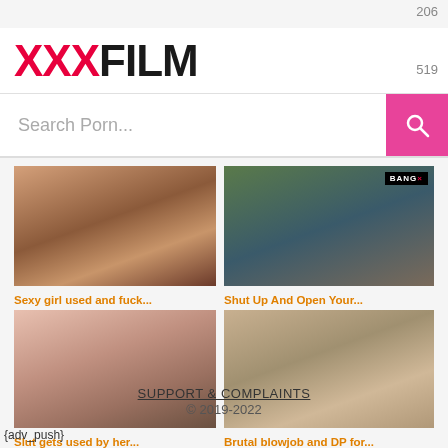206
[Figure (logo): XXXFILM logo with XXX in red/pink and FILM in black, large bold text]
519
Search Porn...
[Figure (photo): Video thumbnail 1]
Sexy girl used and fuck...
[Figure (photo): Video thumbnail 2 with BANGBROS badge]
Shut Up And Open Your...
[Figure (photo): Video thumbnail 3]
Slut gets used by her...
[Figure (photo): Video thumbnail 4]
Brutal blowjob and DP for...
SUPPORT & COMPLAINTS
© 2019-2022
{adv_push}